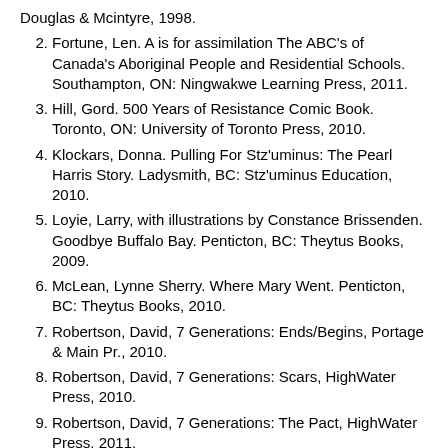Douglas & Mcintyre, 1998.
2. Fortune, Len. A is for assimilation The ABC's of Canada's Aboriginal People and Residential Schools. Southampton, ON: Ningwakwe Learning Press, 2011.
3. Hill, Gord. 500 Years of Resistance Comic Book. Toronto, ON: University of Toronto Press, 2010.
4. Klockars, Donna. Pulling For Stz'uminus: The Pearl Harris Story. Ladysmith, BC: Stz'uminus Education, 2010.
5. Loyie, Larry, with illustrations by Constance Brissenden. Goodbye Buffalo Bay. Penticton, BC: Theytus Books, 2009.
6. McLean, Lynne Sherry. Where Mary Went. Penticton, BC: Theytus Books, 2010.
7. Robertson, David, 7 Generations: Ends/Begins, Portage & Main Pr., 2010.
8. Robertson, David, 7 Generations: Scars, HighWater Press, 2010.
9. Robertson, David, 7 Generations: The Pact, HighWater Press, 2011.
10. Robertson, David, Sugar Falls: A Residential School Story,